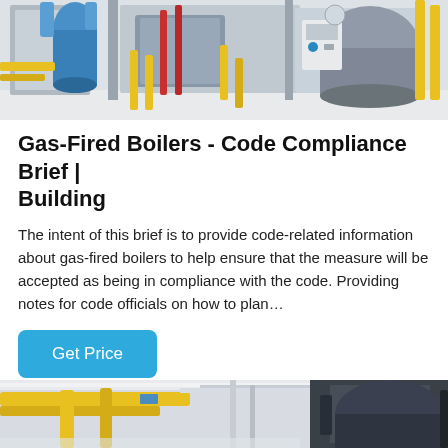[Figure (photo): Industrial boiler room with blue cylindrical boilers, yellow and red pipes, gray metal enclosures, on a white/gray floor]
Gas-Fired Boilers - Code Compliance Brief | Building
The intent of this brief is to provide code-related information about gas-fired boilers to help ensure that the measure will be accepted as being in compliance with the code. Providing notes for code officials on how to plan…
Get Price
[Figure (photo): Industrial facility interior with yellow overhead pipes/handrails and large dark cylindrical boiler equipment visible]